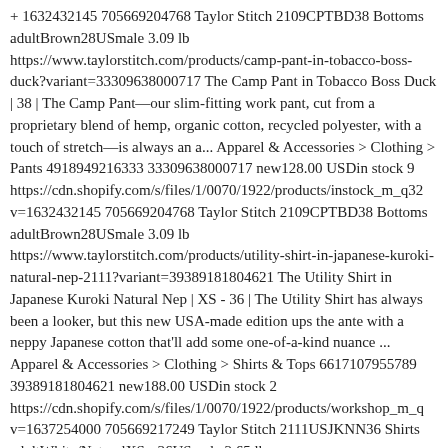+ 1632432145 705669204768 Taylor Stitch 2109CPTBD38 Bottoms adultBrown28USmale 3.09 lb https://www.taylorstitch.com/products/camp-pant-in-tobacco-boss-duck?variant=33309638000717 The Camp Pant in Tobacco Boss Duck | 38 | The Camp Pant—our slim-fitting work pant, cut from a proprietary blend of hemp, organic cotton, recycled polyester, with a touch of stretch—is always an a... Apparel & Accessories > Clothing > Pants 4918949216333 33309638000717 new128.00 USDin stock 9 https://cdn.shopify.com/s/files/1/0070/1922/products/instock_m_q32 v=1632432145 705669204768 Taylor Stitch 2109CPTBD38 Bottoms adultBrown28USmale 3.09 lb https://www.taylorstitch.com/products/utility-shirt-in-japanese-kuroki-natural-nep-2111?variant=39389181804621 The Utility Shirt in Japanese Kuroki Natural Nep | XS - 36 | The Utility Shirt has always been a looker, but this new USA-made edition ups the ante with a neppy Japanese cotton that'll add some one-of-a-kind nuance ... Apparel & Accessories > Clothing > Shirts & Tops 6617107955789 39389181804621 new188.00 USDin stock 2 https://cdn.shopify.com/s/files/1/0070/1922/products/workshop_m_q v=1637254000 705669217249 Taylor Stitch 2111USJKNN36 Shirts adultWhite/NaturalXS - 36USmale 2.65 lb https://www.taylorstitch.com/products/utility-shirt-in-japanese-kuroki-natural-nep-2111?variant=39389181837389 The Utility Shirt in Japanese Kuroki Natural Nep | S - 38 | The Utility Shirt has always been a looker, but this new USA-made edition ups the ante